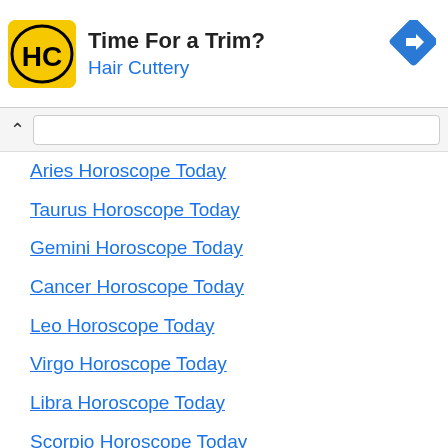[Figure (screenshot): Hair Cuttery advertisement banner with yellow logo showing HC letters, text 'Time For a Trim?' and 'Hair Cuttery', and a blue navigation arrow icon on the right]
Aries Horoscope Today
Taurus Horoscope Today
Gemini Horoscope Today
Cancer Horoscope Today
Leo Horoscope Today
Virgo Horoscope Today
Libra Horoscope Today
Scorpio Horoscope Today
Sagittarius Horoscope Today
Capricorn Horoscope Today